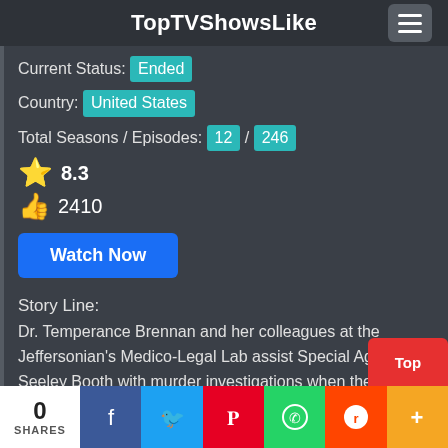TopTVShowsLike
Current Status: Ended
Country: United States
Total Seasons / Episodes: 12 / 246
8.3
2410
Watch Now
Story Line:
Dr. Temperance Brennan and her colleagues at the Jeffersonian's Medico-Legal Lab assist Special Agent Seeley Booth with murder investigations when the remains are so badly decomposed, burned or destroyed that the standard identification method...
0 SHARES | Facebook | Twitter | Pinterest | WhatsApp | Reddit | More